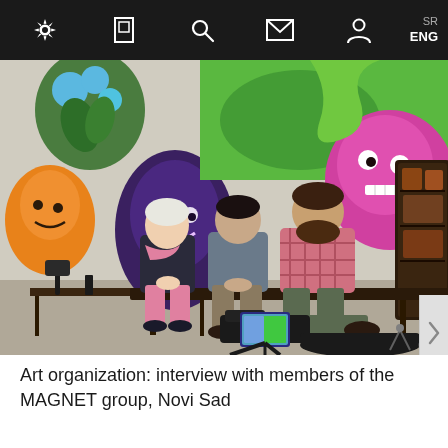SR ENG (navigation bar with icons: settings, bookmark, search, mail, person)
[Figure (photo): Three people sitting on a bench outdoors against a colorful graffiti mural wall. A woman with white hair and a pink scarf sits on the left, a man in a gray t-shirt sits in the middle, and a bearded man in a pink plaid shirt sits on the right. Camera equipment is visible in the foreground. A dark wooden cabinet structure is on the right side. The mural features cartoon-like characters in bright colors.]
Art organization: interview with members of the MAGNET group, Novi Sad